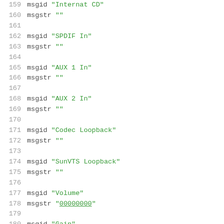159 msgid "Internat CD"
160 msgstr ""
161
162 msgid "SPDIF In"
163 msgstr ""
164
165 msgid "AUX 1 In"
166 msgstr ""
167
168 msgid "AUX 2 In"
169 msgstr ""
170
171 msgid "Codec Loopback"
172 msgstr ""
173
174 msgid "SunVTS Loopback"
175 msgstr ""
176
177 msgid "Volume"
178 msgstr "00000000"
179
180 msgid "Gain"